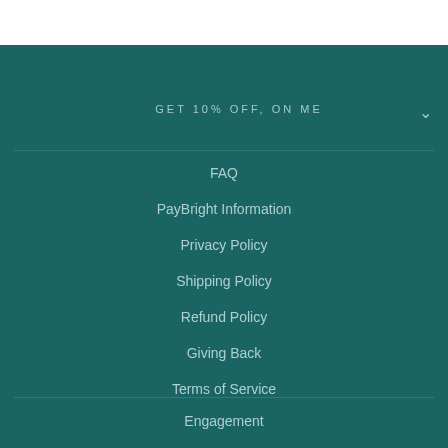GET 10% OFF, ON ME
FAQ
PayBright Information
Privacy Policy
Shipping Policy
Refund Policy
Giving Back
Terms of Service
Engagement
Jewellery